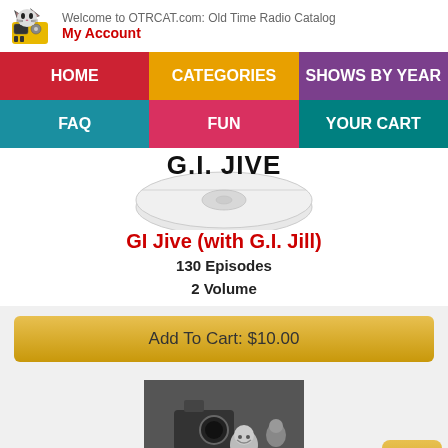Welcome to OTRCAT.com: Old Time Radio Catalog
My Account
HOME
CATEGORIES
SHOWS BY YEAR
FAQ
FUN
YOUR CART
[Figure (illustration): GI Jive CD disc with G.I. JIVE text on it]
GI Jive (with G.I. Jill)
130 Episodes
2 Volume
Add To Cart: $10.00
[Figure (photo): Black and white photo of a woman smiling near a movie camera, with another person visible in the background]
Command Performance
325 Episodes